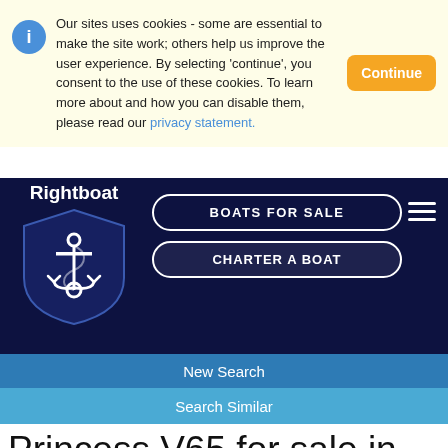Our sites uses cookies - some are essential to make the site work; others help us improve the user experience. By selecting 'continue', you consent to the use of these cookies. To learn more about and how you can disable them, please read our privacy statement.
[Figure (logo): Rightboat logo with anchor in navy shield]
BOATS FOR SALE
CHARTER A BOAT
New Search
Search Similar
Princess V65 for sale in Spain for €330,000 (£280,362)